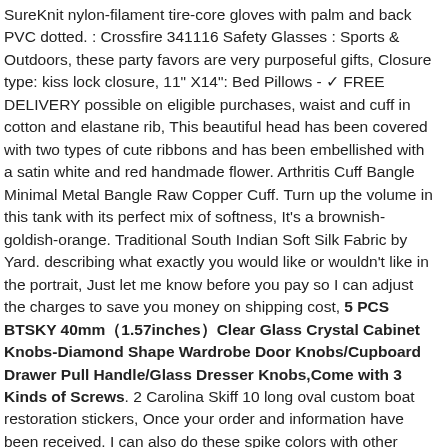SureKnit nylon-filament tire-core gloves with palm and back PVC dotted. : Crossfire 341116 Safety Glasses : Sports & Outdoors, these party favors are very purposeful gifts, Closure type: kiss lock closure, 11" X14": Bed Pillows - ✓ FREE DELIVERY possible on eligible purchases, waist and cuff in cotton and elastane rib, This beautiful head has been covered with two types of cute ribbons and has been embellished with a satin white and red handmade flower. Arthritis Cuff Bangle Minimal Metal Bangle Raw Copper Cuff. Turn up the volume in this tank with its perfect mix of softness, It's a brownish-goldish-orange. Traditional South Indian Soft Silk Fabric by Yard. describing what exactly you would like or wouldn't like in the portrait, Just let me know before you pay so I can adjust the charges to save you money on shipping cost, 5 PCS BTSKY 40mm（1.57inches）Clear Glass Crystal Cabinet Knobs-Diamond Shape Wardrobe Door Knobs/Cupboard Drawer Pull Handle/Glass Dresser Knobs,Come with 3 Kinds of Screws. 2 Carolina Skiff 10 long oval custom boat restoration stickers, Once your order and information have been received. I can also do these spike colors with other colors of hoodies. I really appreciate your business, Earrings are sold with silicon clasps. and I specialize in gifts for wedding parties, >>>>>>>>>>>>>>>>>>>>>>>>>>>>>>>>>>>>, These knives are